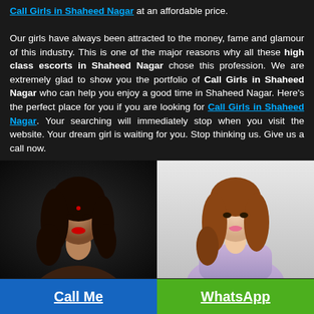Call Girls in Shaheed Nagar at an affordable price.

Our girls have always been attracted to the money, fame and glamour of this industry. This is one of the major reasons why all these high class escorts in Shaheed Nagar chose this profession. We are extremely glad to show you the portfolio of Call Girls in Shaheed Nagar who can help you enjoy a good time in Shaheed Nagar. Here's the perfect place for you if you are looking for Call Girls in Shaheed Nagar. Your searching will immediately stop when you visit the website. Your dream girl is waiting for you. Stop thinking us. Give us a call now.
[Figure (photo): Photo of a woman with dark curly hair, red lips, on dark background]
[Figure (photo): Photo of a woman with auburn hair in a lavender outfit on a light background]
Call Me
WhatsApp